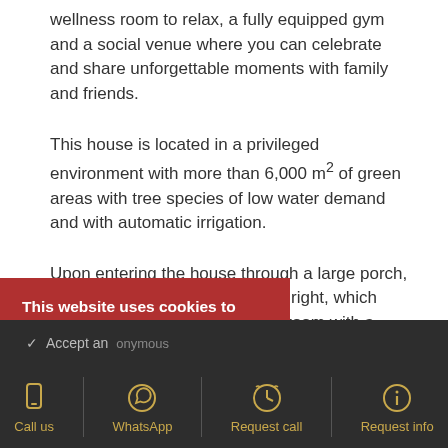wellness room to relax, a fully equipped gym and a social venue where you can celebrate and share unforgettable moments with family and friends.
This house is located in a privileged environment with more than 6,000 m² of green areas with tree species of low water demand and with automatic irrigation.
Upon entering the house through a large porch, the day area is arranged on the right, which consists of a large living-dining room with a practical open-plan kitchen, ...nd the large garden. ...n the left, we find a bedroom ...cal for visitors who have ...ally, a utility room is ...material.
This website uses cookies to ensure you get the best experience on our website. View privacy policy
Call us | WhatsApp | Request call | Request info